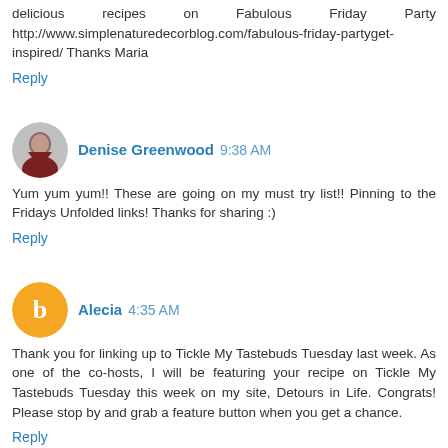delicious recipes on Fabulous Friday Party http://www.simplenaturedecorblog.com/fabulous-friday-partyget-inspired/ Thanks Maria
Reply
Denise Greenwood 9:38 AM
Yum yum yum!! These are going on my must try list!! Pinning to the Fridays Unfolded links! Thanks for sharing :)
Reply
Alecia 4:35 AM
Thank you for linking up to Tickle My Tastebuds Tuesday last week. As one of the co-hosts, I will be featuring your recipe on Tickle My Tastebuds Tuesday this week on my site, Detours in Life. Congrats! Please stop by and grab a feature button when you get a chance.
Reply